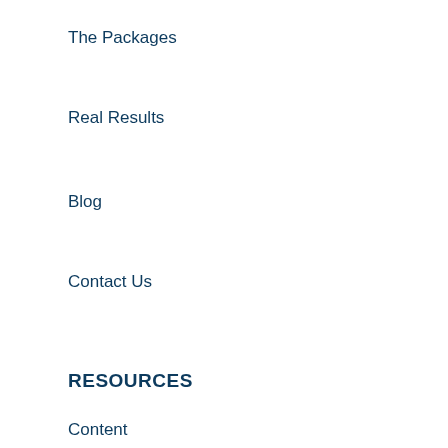The Packages
Real Results
Blog
Contact Us
RESOURCES
Content
Website Audit
Keyword Research
How To Build an Amazon Affiliate Site
Blogify: Promote Your YouTube Channel Through Blog